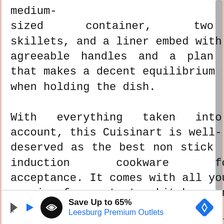medium-sized container, two skillets, and a liner embed with agreeable handles and a plan that makes a decent equilibrium when holding the dish.

With everything taken into account, this Cuisinart is well-deserved as the best non stick induction cookware for acceptance. It comes with all you require for a starter kitchen, and it's an incredible decision for those hoping to overhaul their old
[Figure (other): Advertisement banner: Save Up to 65% Leesburg Premium Outlets with logo icons]